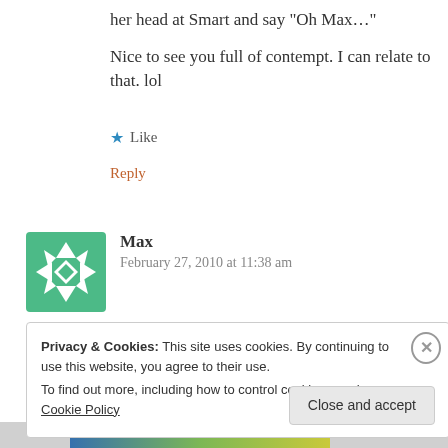her head at Smart and say “Oh Max…”
Nice to see you full of contempt. I can relate to that. lol
★ Like
Reply
[Figure (illustration): Green geometric snowflake/quilt-pattern avatar icon]
Max
February 27, 2010 at 11:38 am
OK, I’ll go quietly.
Privacy & Cookies: This site uses cookies. By continuing to use this website, you agree to their use.
To find out more, including how to control cookies, see here: Cookie Policy
Close and accept